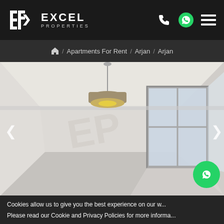Excel Properties — header with logo, phone, WhatsApp, and menu icons
🏠 / Apartments For Rent / Arjan / Arjan
[Figure (photo): Interior photo of a bright empty apartment room with a ceiling-mounted drum pendant light, white walls, and a large window letting in sunlight. An EP watermark is faintly visible on the image. Left and right navigation arrows are visible on the sides of the image.]
Cookies allow us to give you the best experience on our w... Please read our Cookie and Privacy Policies for more informa...